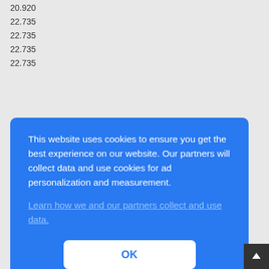20.920
22.735
22.735
22.735
22.735
FS
2.520
2.100
This website uses cookies to ensure you get the best experience on our website. Our partners will collect data and use cookies for ad personalization and measurement.
Learn how we and our partners collect and use data.
OK